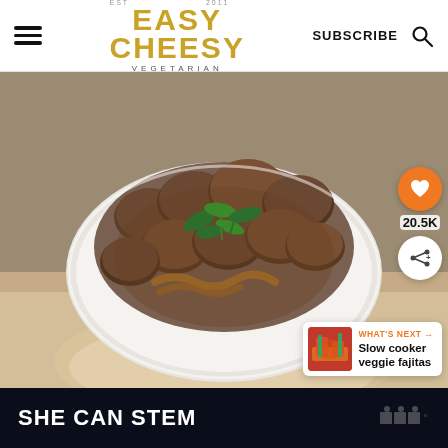Easy Cheesy Vegetarian — SUBSCRIBE
[Figure (photo): A white bowl filled with mushroom stroganoff in a rich brown sauce with caramelized onions and fresh parsley, served over brown rice, photographed from above on a wooden surface.]
20.5K
WHAT'S NEXT → Slow cooker veggie fajitas
SHE CAN STEM